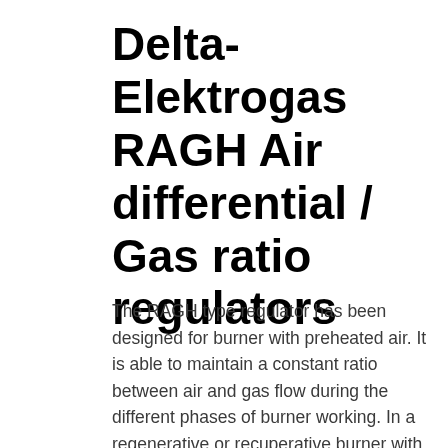Delta-Elektrogas RAGH Air differential / Gas ratio regulators
The RAGH type regulator has been designed for burner with preheated air. It is able to maintain a constant ratio between air and gas flow during the different phases of burner working. In a regenerative or recuperative burner with the same air inlet pressure, the air flow changes during burner working and aging. Air flow depends on air preheating grade and the presence of dirty on recuperator or regenerator. RAGH is able to